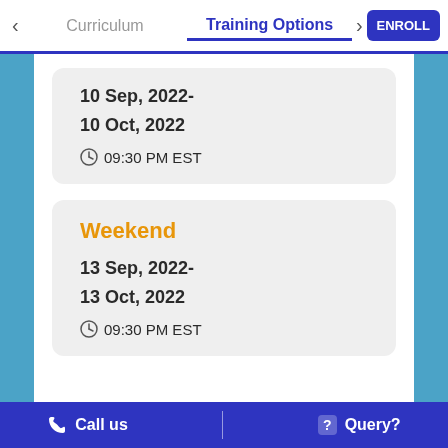Curriculum | Training Options | ENROLL
10 Sep, 2022-
10 Oct, 2022
09:30 PM EST
Weekend
13 Sep, 2022-
13 Oct, 2022
09:30 PM EST
Call us | Query?